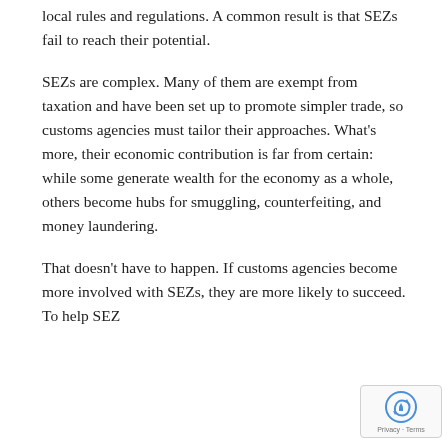local rules and regulations. A common result is that SEZs fail to reach their potential.
SEZs are complex. Many of them are exempt from taxation and have been set up to promote simpler trade, so customs agencies must tailor their approaches. What’s more, their economic contribution is far from certain: while some generate wealth for the economy as a whole, others become hubs for smuggling, counterfeiting, and money laundering.
That doesn’t have to happen. If customs agencies become more involved with SEZs, they are more likely to succeed. To help SEZ…